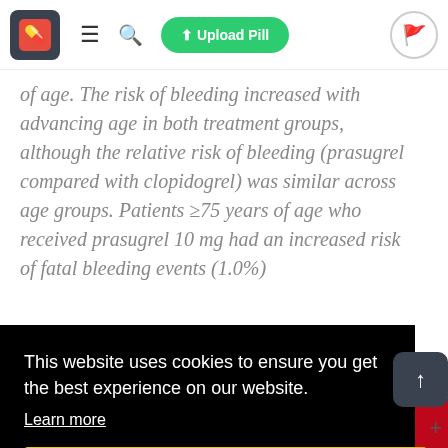[Figure (screenshot): Website navigation bar with logo (red pill icon on dark background), hamburger menu, search icon, green 'Upload Pill' button, and flag icon in circle]
of age. The risk of bleeding increased with advancing age in both treatment groups, although the relative risk of bleeding (prasugrel compared with clopidogrel) was similar across age groups. Patients ≥75 years of age who received prasugrel 10 mg had an increased risk of fatal bleeding events (1.0%)
This website uses cookies to ensure you get the best experience on our website. Learn more
Got it!
[Figure (screenshot): Bottom social share bar with gray, Facebook blue, Twitter blue, LinkedIn blue, and Pinterest red segments]